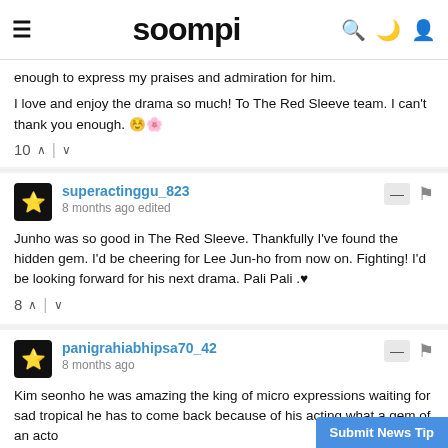soompi
enough to express my praises and admiration for him.
I love and enjoy the drama so much! To The Red Sleeve team. I can't thank you enough. 😊🌸
10 ∧ | ∨
superactinggu_823
8 months ago edited
Junho was so good in The Red Sleeve. Thankfully I've found the hidden gem. I'd be cheering for Lee Jun-ho from now on. Fighting! I'd be looking forward for his next drama. Pali Pali .♥
8 ∧ | ∨
panigrahiabhipsa70_42
8 months ago
Kim seonho he was amazing the king of micro expressions waiting for sad tropical he has to come back because of his acting what a gem of an acto
Submit News Tip